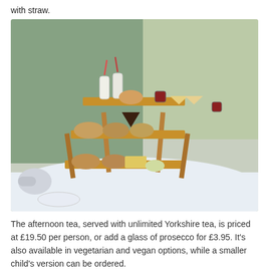with straw.
[Figure (photo): Outdoor afternoon tea setup on a tiered wooden picnic-table-style stand on a white tablecloth. The stand has three tiers with various sandwiches, scones, small jars of jam, and milk bottles with striped straws. A green wall and blurry garden path visible in the background.]
The afternoon tea, served with unlimited Yorkshire tea, is priced at £19.50 per person, or add a glass of prosecco for £3.95. It's also available in vegetarian and vegan options, while a smaller child's version can be ordered.